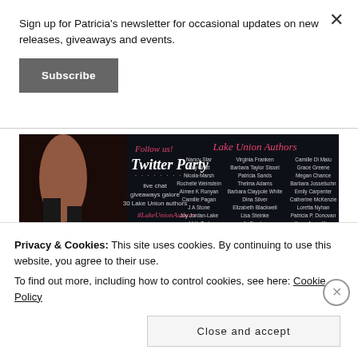Sign up for Patricia's newsletter for occasional updates on new releases, giveaways and events.
Subscribe
[Figure (illustration): Twitter Party promotional banner for Lake Union Authors showing event details, author names, and event hashtag #LakeUnionAuthors on a dark background.]
Privacy & Cookies: This site uses cookies. By continuing to use this website, you agree to their use.
To find out more, including how to control cookies, see here: Cookie Policy
Close and accept